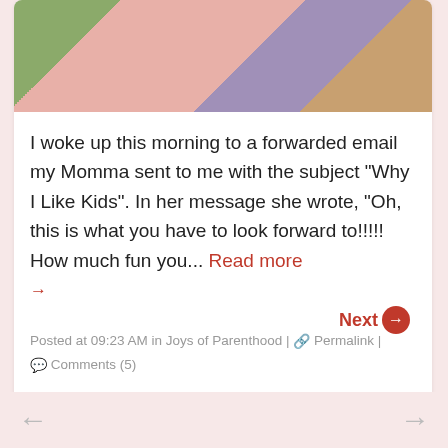[Figure (photo): A photo showing children/people, cropped at top, with colorful background tones of green, pink/skin, purple, and brown.]
I woke up this morning to a forwarded email my Momma sent to me with the subject "Why I Like Kids". In her message she wrote, "Oh, this is what you have to look forward to!!!!! How much fun you... Read more →
Posted at 09:23 AM in Joys of Parenthood | 🔗 Permalink | 💬 Comments (5)
Next →